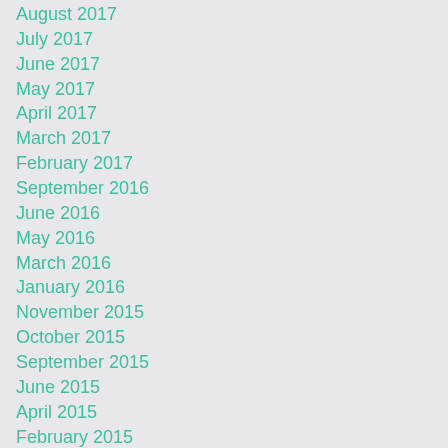August 2017
July 2017
June 2017
May 2017
April 2017
March 2017
February 2017
September 2016
June 2016
May 2016
March 2016
January 2016
November 2015
October 2015
September 2015
June 2015
April 2015
February 2015
January 2015
December 2014
October 2014